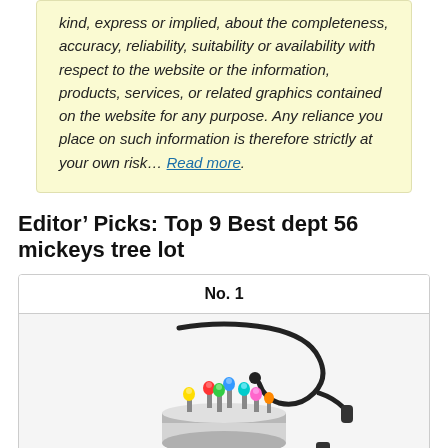kind, express or implied, about the completeness, accuracy, reliability, suitability or availability with respect to the website or the information, products, services, or related graphics contained on the website for any purpose. Any reliance you place on such information is therefore strictly at your own risk… Read more.
Editor’ Picks: Top 9 Best dept 56 mickeys tree lot
| No. 1 |
| --- |
| [product image] |
[Figure (photo): Photo of a circular LED light base device with colorful bulbs on top and a power adapter/cable below, on a light gray background.]